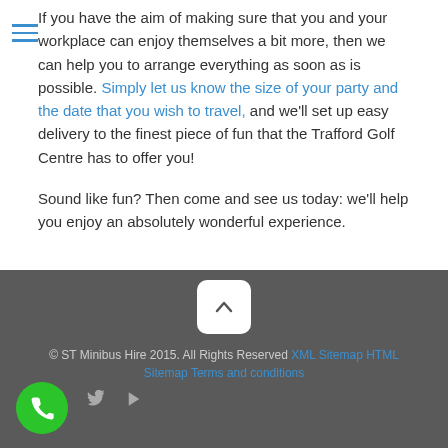If you have the aim of making sure that you and your workplace can enjoy themselves a bit more, then we can help you to arrange everything as soon as is possible. Simply let us know the size of your party and the date that you wish to travel, and we'll set up easy delivery to the finest piece of fun that the Trafford Golf Centre has to offer you!
Sound like fun? Then come and see us today: we'll help you enjoy an absolutely wonderful experience.
© ST Minibus Hire 2015. All Rights Reserved XML Sitemap HTML Sitemap Terms and conditions